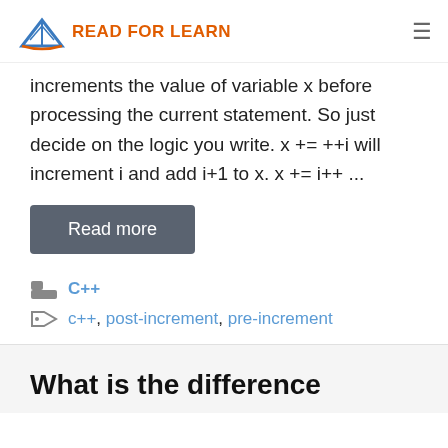READ FOR LEARN
increments the value of variable x before processing the current statement. So just decide on the logic you write. x += ++i will increment i and add i+1 to x. x += i++ ...
Read more
C++
c++, post-increment, pre-increment
What is the difference